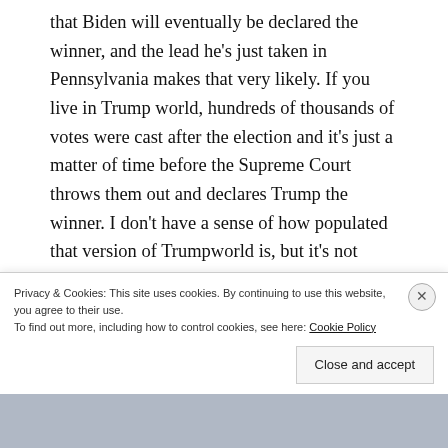that Biden will eventually be declared the winner, and the lead he's just taken in Pennsylvania makes that very likely. If you live in Trump world, hundreds of thousands of votes were cast after the election and it's just a matter of time before the Supreme Court throws them out and declares Trump the winner. I don't have a sense of how populated that version of Trumpworld is, but it's not empty.
CONTINUE READING →
Privacy & Cookies: This site uses cookies. By continuing to use this website, you agree to their use.
To find out more, including how to control cookies, see here: Cookie Policy
Close and accept